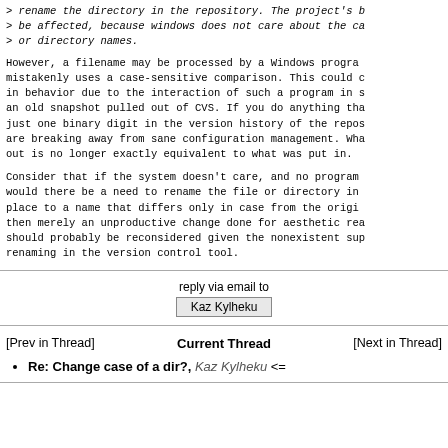> rename the directory in the repository. The project's b
> be affected, because windows does not care about the ca
> or directory names.
However, a filename may be processed by a Windows program mistakenly uses a case-sensitive comparison. This could c in behavior due to the interaction of such a program in s an old snapshot pulled out of CVS. If you do anything tha just one binary digit in the version history of the repos are breaking away from sane configuration management. Wha out is no longer exactly equivalent to what was put in.
Consider that if the system doesn't care, and no program would there be a need to rename the file or directory in place to a name that differs only in case from the origi then merely an unproductive change done for aesthetic rea should probably be reconsidered given the nonexistent sup renaming in the version control tool.
reply via email to
Kaz Kylheku
[Prev in Thread]
Current Thread
[Next in Thread]
Re: Change case of a dir?, Kaz Kylheku <=